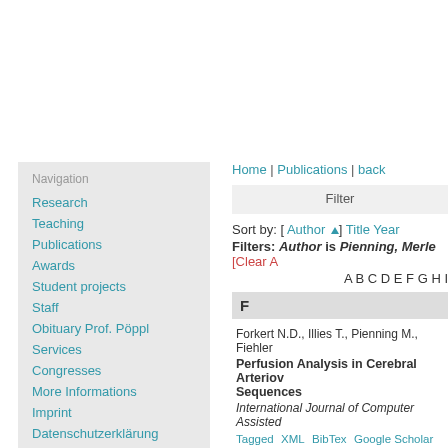Navigation
Research
Teaching
Publications
Awards
Student projects
Staff
Obituary Prof. Pöppl
Services
Congresses
More Informations
Imprint
Datenschutzerklärung
Home | Publications | back
Filter
Sort by: [ Author ▲ ] Title Year
Filters: Author is Pienning, Merle  [Clear A...
A B C D E F G H I...
F
Forkert N.D., Illies T., Pienning M., Fiehler...
Perfusion Analysis in Cerebral Arteriov... Sequences
International Journal of Computer Assisted...
Tagged  XML  BibTex  Google Scholar